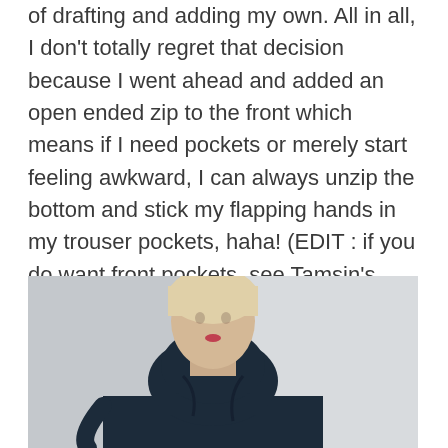of drafting and adding my own. All in all, I don't totally regret that decision because I went ahead and added an open ended zip to the front which means if I need pockets or merely start feeling awkward, I can always unzip the bottom and stick my flapping hands in my trouser pockets, haha! (EDIT : if you do want front pockets, see Tamsin's really helpful note and link in the Comments section below).
[Figure (photo): A person with short blonde hair wearing a dark navy blue high-neck/funnel-neck top or jacket, photographed from above the waist. The background is a light grey/white wall on the right side.]